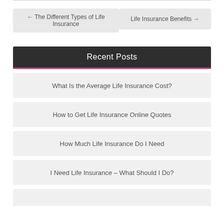← The Different Types of Life Insurance
Life Insurance Benefits →
Recent Posts
What Is the Average Life Insurance Cost?
How to Get Life Insurance Online Quotes
How Much Life Insurance Do I Need
I Need Life Insurance – What Should I Do?